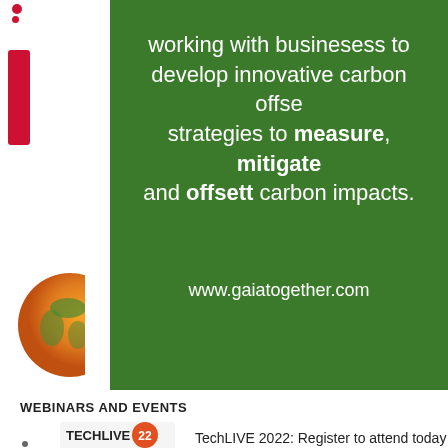[Figure (infographic): Green panel with white text: 'working with businesess to develop innovative carbon offset strategies to measure, mitigate and offsett carbon impacts.' and URL www.gaiatogether.com. Left side has red dots, red rectangle, and partial globe image.]
WEBINARS AND EVENTS
[Figure (logo): TechLIVE 22 mobilenews logo]
TechLIVE 2022: Register to attend today